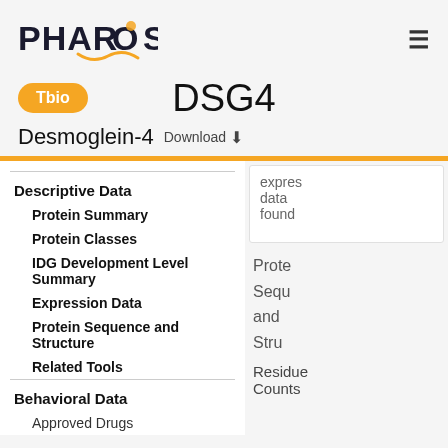PHAROS
DSG4
Desmoglein-4  Download ⬇
Descriptive Data
Protein Summary
Protein Classes
IDG Development Level Summary
Expression Data
Protein Sequence and Structure
Related Tools
Behavioral Data
Approved Drugs
expres data found
Prote Sequ and Stru
Residue Counts